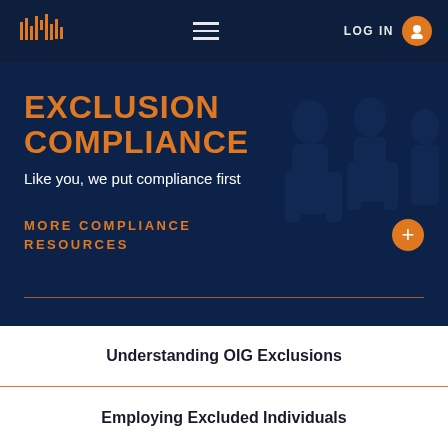LOG IN
EXCLUSION COMPLIANCE
Like you, we put compliance first
MORE COMPLIANCE RESOURCES
Understanding OIG Exclusions
Employing Excluded Individuals